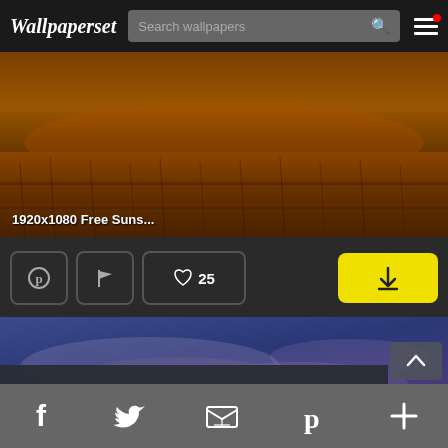Wallpaperset | Search wallpapers
[Figure (photo): Sunset landscape with golden-brown grassland, HDR style. Label: 1920x1080 Free Suns...]
1920x1080 Free Suns...
[Figure (other): Action buttons row: Pinterest icon, flag icon, heart with 25 likes, yellow download button]
25
[Figure (photo): Blue/purple dramatic sky with clouds at sunset]
This website uses cookies.  Learn more
Facebook | Twitter | Email | Pinterest | Plus